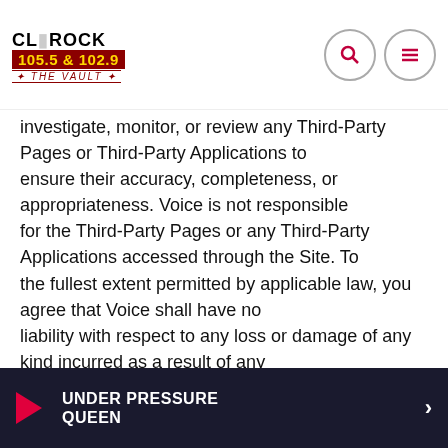Classic Rock 105.5 & 102.9 The Vault
investigate, monitor, or review any Third-Party Pages or Third-Party Applications to ensure their accuracy, completeness, or appropriateness. Voice is not responsible for the Third-Party Pages or any Third-Party Applications accessed through the Site. To the fullest extent permitted by applicable law, you agree that Voice shall have no liability with respect to any loss or damage of any kind incurred as a result of any dealings between you and any third party, or as a result of the presence of such third party on the Platforms.

The inclusion of any hyperlinks to any Third-Party Pages or Third-Party
UNDER PRESSURE QUEEN